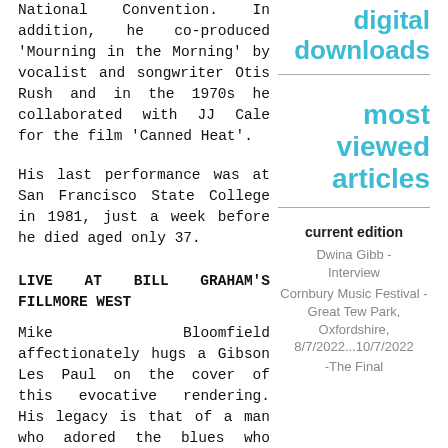National Convention. In addition, he co-produced 'Mourning in the Morning' by vocalist and songwriter Otis Rush and in the 1970s he collaborated with JJ Cale for the film 'Canned Heat'.
His last performance was at San Francisco State College in 1981, just a week before he died aged only 37.
LIVE AT BILL GRAHAM'S FILLMORE WEST
Mike Bloomfield affectionately hugs a Gibson Les Paul on the cover of this evocative rendering. His legacy is that of a man who adored the blues who died way-too-young from an overdose, but his love for the
digital downloads
most viewed articles
current edition
Dwina Gibb - Interview
Cornbury Music Festival - Great Tew Park, Oxfordshire, 8/7/2022...10/7/2022
-The Final